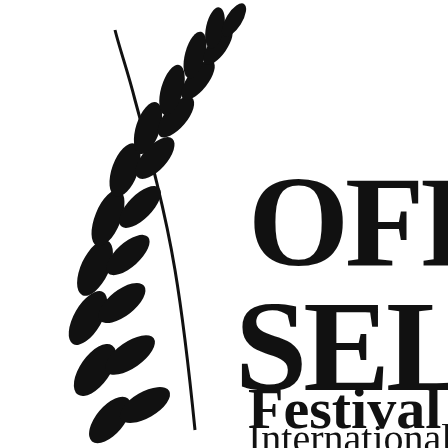New review of 6480
[Figure (logo): Official Selection festival laurel badge — a black laurel branch on the left with large bold text reading 'OFFI SELEC' (cropped) and below it 'Festival' and 'Internationall' (cropped), all in black on white background.]